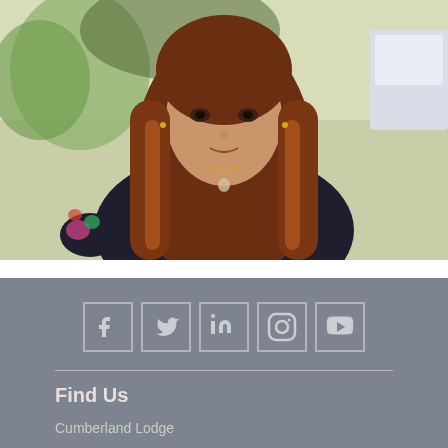[Figure (photo): Portrait photo of a young woman with long reddish-brown hair, wearing a dark navy sweatshirt with floral embroidery on the sleeve and a gold necklace. Background shows trees and a light sky.]
[Figure (infographic): Social media icons row: Facebook, Twitter, LinkedIn, Instagram, YouTube — white icons in square outlined boxes on a grey background.]
Find Us
Cumberland Lodge